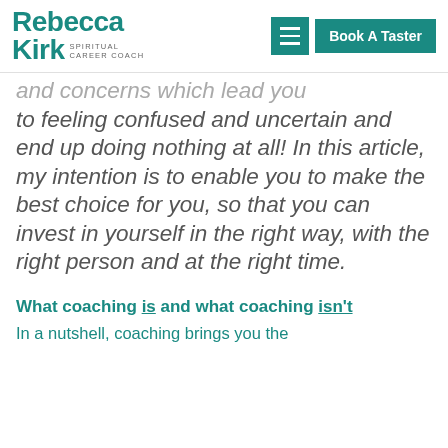[Figure (logo): Rebecca Kirk Spiritual Career Coach logo with teal text]
and concerns which lead you to feeling confused and uncertain and end up doing nothing at all! In this article, my intention is to enable you to make the best choice for you, so that you can invest in yourself in the right way, with the right person and at the right time.
What coaching is and what coaching isn't
In a nutshell, coaching brings you the